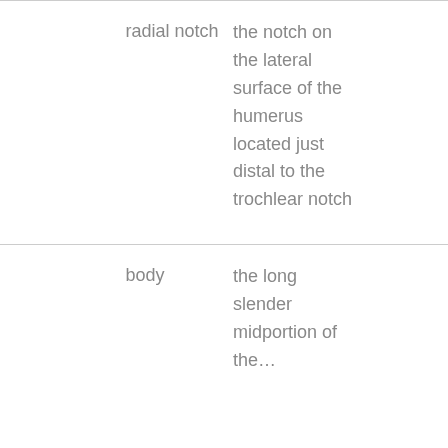|  | Term | Definition |
| --- | --- | --- |
|  | radial notch | the notch on the lateral surface of the humerus located just distal to the trochlear notch |
|  | body | the long slender midportion of the… |